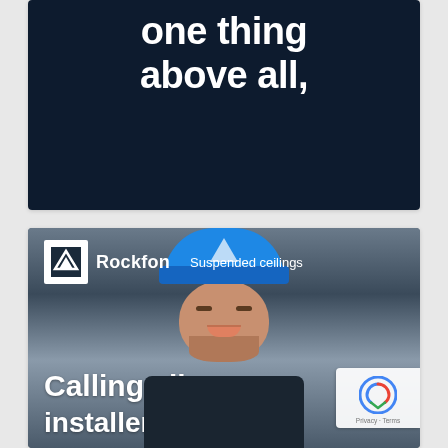[Figure (photo): Dark navy background with large white bold text reading 'one thing above all,' — partial text visible, top portion cut off]
[Figure (photo): Rockfon Suspended ceilings advertisement photo showing a smiling man wearing a blue beanie hat, with Rockfon logo top-left and text 'Calling all' at bottom. reCAPTCHA Privacy·Terms badge at bottom right.]